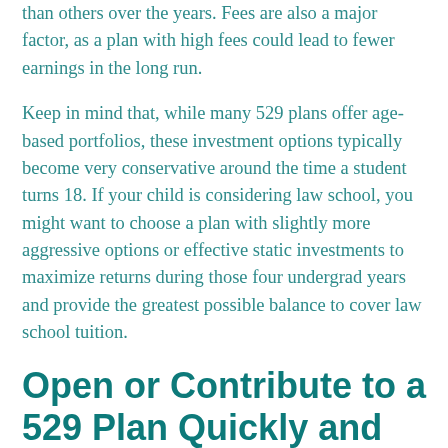than others over the years. Fees are also a major factor, as a plan with high fees could lead to fewer earnings in the long run.
Keep in mind that, while many 529 plans offer age-based portfolios, these investment options typically become very conservative around the time a student turns 18. If your child is considering law school, you might want to choose a plan with slightly more aggressive options or effective static investments to maximize returns during those four undergrad years and provide the greatest possible balance to cover law school tuition.
Open or Contribute to a 529 Plan Quickly and Easily with the Sootchy